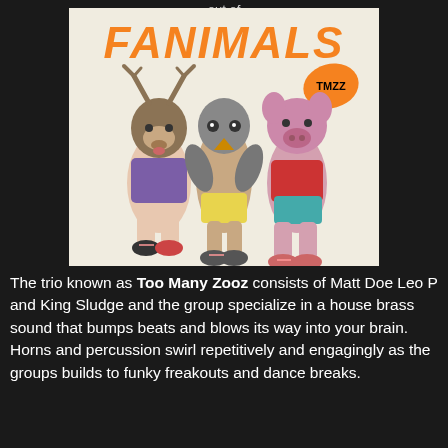out of
[Figure (illustration): Fanimals album art cover showing three figures with animal heads (deer, pigeon/bird, pig) wearing colorful athletic clothing and sneakers, seated together. The word FANIMALS is displayed in large orange graffiti-style letters at the top. A TMZZ logo appears in the upper right corner with an orange splash.]
The trio known as Too Many Zooz consists of Matt Doe Leo P and King Sludge and the group specialize in a house brass sound that bumps beats and blows its way into your brain. Horns and percussion swirl repetitively and engagingly as the groups builds to funky freakouts and dance breaks.